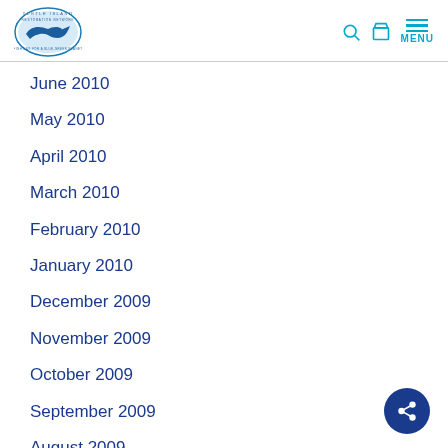Turtle Island Restoration Network
June 2010
May 2010
April 2010
March 2010
February 2010
January 2010
December 2009
November 2009
October 2009
September 2009
August 2009